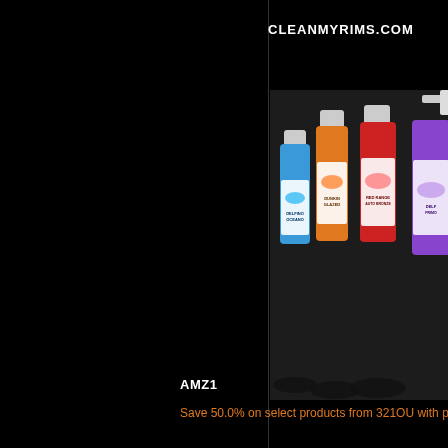CLEANMYRIMS.COM
[Figure (photo): Product photo showing four car cleaning product bottles labeled DELFINO OCEANO (blue), DUNKIN GLAZED (orange), RED RANGER AUTO BRONZE, and a purple spray bottle, arranged on a dark background]
AMZ1
Save 50.0% on select products from 321OU with promo code 50TRZK